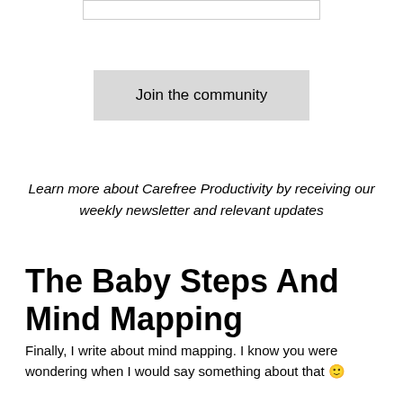Join the community
Learn more about Carefree Productivity by receiving our weekly newsletter and relevant updates
The Baby Steps And Mind Mapping
Finally, I write about mind mapping. I know you were wondering when I would say something about that 🙂
A mind map is a visual overview of your information. It is information transformed into knowledge and